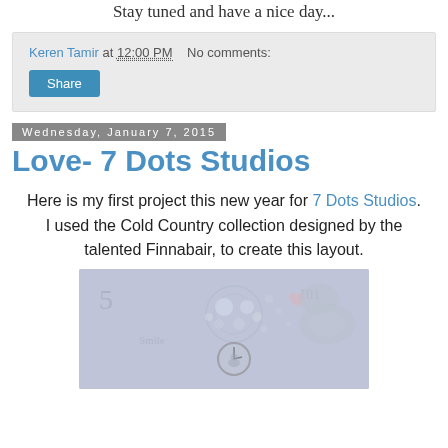Stay tuned and have a nice day...
Keren Tamir at 12:00 PM   No comments:
Share
Wednesday, January 7, 2015
Love- 7 Dots Studios
Here is my first project this new year for 7 Dots Studios. I used the Cold Country collection designed by the talented Finnabair, to create this layout.
[Figure (photo): Scrapbook layout photo with a decorative artistic background featuring circles, hearts, and a clock motif in blue-grey tones.]